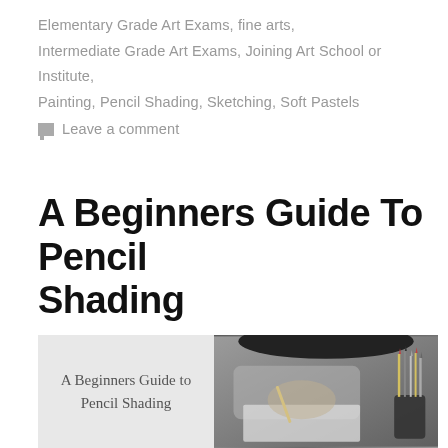Elementary Grade Art Exams, fine arts, Intermediate Grade Art Exams, Joining Art School or Institute, Painting, Pencil Shading, Sketching, Soft Pastels
Leave a comment
A Beginners Guide To Pencil Shading
[Figure (photo): Split image: left half shows light gray background with cursive script text 'A Beginners Guide to Pencil Shading'; right half shows black and white photo of a person's hands drawing/sketching with a pencil cup holding multiple pencils in the background.]